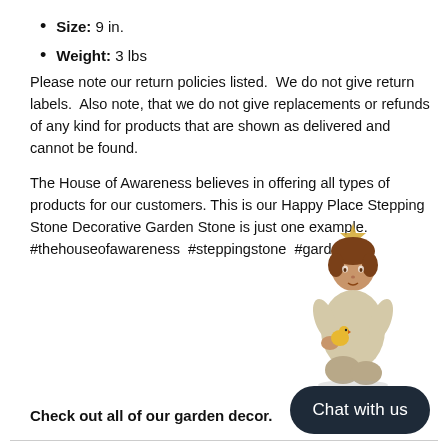Size: 9 in.
Weight: 3 lbs
Please note our return policies listed.  We do not give return labels.  Also note, that we do not give replacements or refunds of any kind for products that are shown as delivered and cannot be found.
The House of Awareness believes in offering all types of products for our customers. This is our Happy Place Stepping Stone Decorative Garden Stone is just one example. #thehouseofawareness  #steppingstone  #garden
[Figure (photo): A small decorative figurine of a child sitting and holding a small animal, with a golden crown on top.]
Check out all of our garden decor.
Chat with us